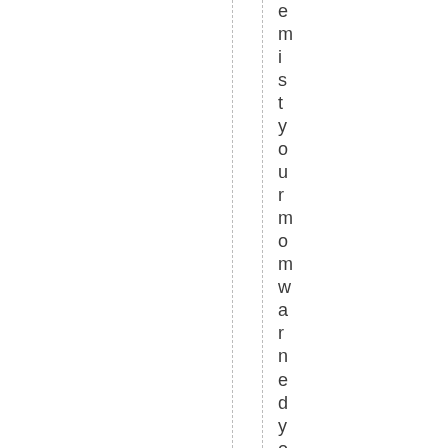emistyourmomwarnedyouabout. htt